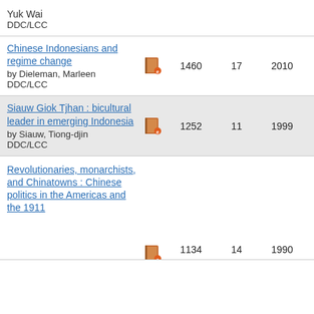Yuk Wai
DDC/LCC
Chinese Indonesians and regime change by Dieleman, Marleen DDC/LCC | 1460 | 17 | 2010 | 2011
Siauw Giok Tjhan : bicultural leader in emerging Indonesia by Siauw, Tiong-djin DDC/LCC | 1252 | 11 | 1999 | 2018
Revolutionaries, monarchists, and Chinatowns : Chinese politics in the Americas and the 1911 | 1134 | 14 | 1990 | 1990